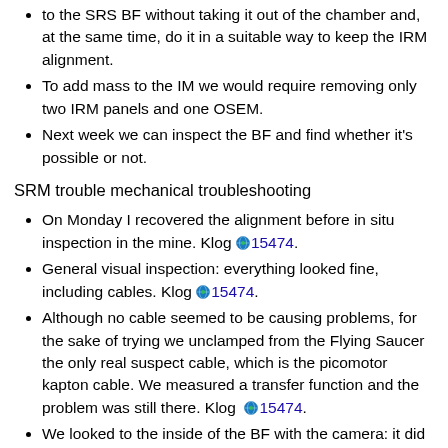to the SRS BF without taking it out of the chamber and, at the same time, do it in a suitable way to keep the IRM alignment.
To add mass to the IM we would require removing only two IRM panels and one OSEM.
Next week we can inspect the BF and find whether it's possible or not.
SRM trouble mechanical troubleshooting
On Monday I recovered the alignment before in situ inspection in the mine. Klog 15474.
General visual inspection: everything looked fine, including cables. Klog 15474.
Although no cable seemed to be causing problems, for the sake of trying we unclamped from the Flying Saucer the only real suspect cable, which is the picomotor kapton cable. We measured a transfer function and the problem was still there. Klog 15474.
We looked to the inside of the BF with the camera: it did not produce useful images. Klog 15477. Pictures at SRM Remedying Work after O3GK.
We tried all the suitable holes at the bottom and at the top (keystone lock screws and nuts